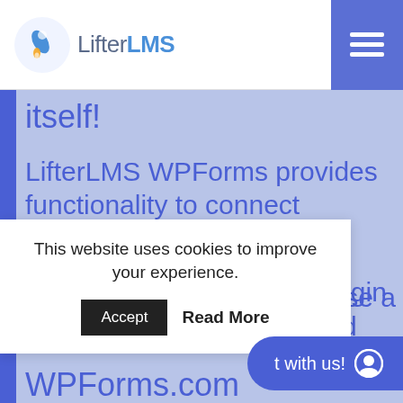LifterLMS
itself!
LifterLMS WPForms provides functionality to connect WPForms with LifterLMS.
WPForms is a separate plugin developed, maintained, and
This website uses cookies to improve your experience.
Accept  Read More
hase a
t with us!
WPForms.com